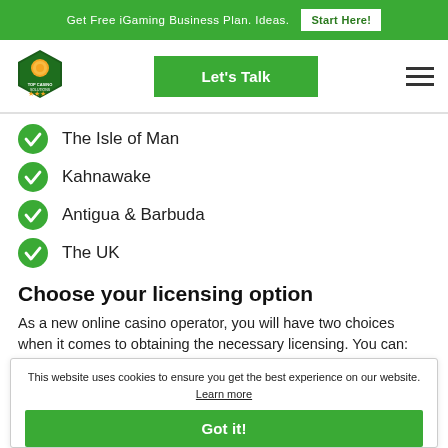Get Free iGaming Business Plan. Ideas  Start Here!
[Figure (logo): Top Casino Solutions shield logo with orange coin and stars]
The Isle of Man
Kahnawake
Antigua & Barbuda
The UK
Choose your licensing option
As a new online casino operator, you will have two choices when it comes to obtaining the necessary licensing. You can:
This website uses cookies to ensure you get the best experience on our website. Learn more
Obtain a gambling license yourself – You are in process including obtaining the application,
Got it!